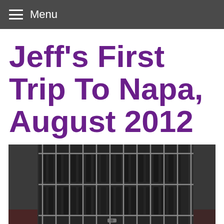Menu
Jeff's First Trip To Napa, August 2012
[Figure (photo): A wine cellar or storage area behind a metal grid/cage structure with dark wine bottles stored on racks, photographed in low light conditions.]